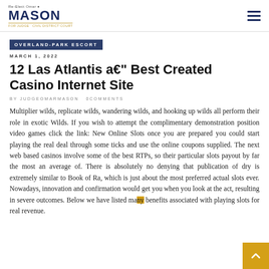Re-Elect Omar Mason for Judge Civil District Court
OVERLAND-PARK ESCORT
MARCH 1, 2022
12 Las Atlantis a€" Best Created Casino Internet Site
BY JUDGEOMARMASON 0COMMENTS
Multiplier wilds, replicate wilds, wandering wilds, and hooking up wilds all perform their role in exotic Wilds. If you wish to attempt the complimentary demonstration position video games click the link: New Online Slots once you are prepared you could start playing the real deal through some ticks and use the online coupons supplied. The next web based casinos involve some of the best RTPs, so their particular slots payout by far the most an average of. There is absolutely no denying that publication of dry is extremely similar to Book of Ra, which is just about the most preferred actual slots ever. Nowadays, innovation and confirmation would get you when you look at the act, resulting in severe outcomes. Below we have listed many benefits associated with playing slots for real revenue.